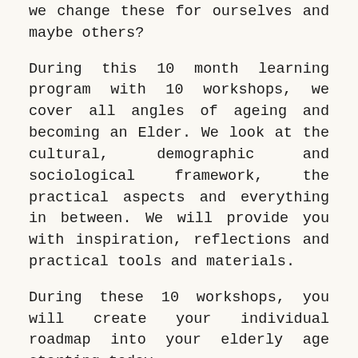we change these for ourselves and maybe others?
During this 10 month learning program with 10 workshops, we cover all angles of ageing and becoming an Elder. We look at the cultural, demographic and sociological framework, the practical aspects and everything in between. We will provide you with inspiration, reflections and practical tools and materials.
During these 10 workshops, you will create your individual roadmap into your elderly age starting today.
For whom?
For people over 40 who wants to take ownership of their ageing and want to shape their elderly age